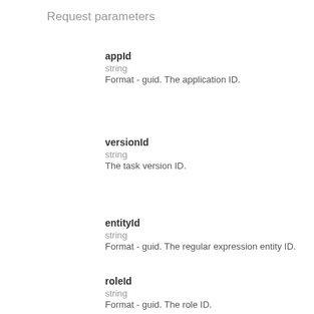Request parameters
appId
string
Format - guid. The application ID.
versionId
string
The task version ID.
entityId
string
Format - guid. The regular expression entity ID.
roleId
string
Format - guid. The role ID.